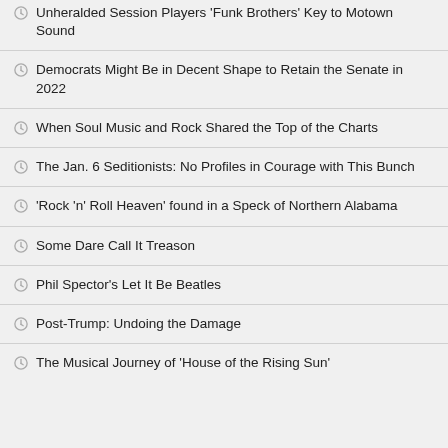Unheralded Session Players 'Funk Brothers' Key to Motown Sound
Democrats Might Be in Decent Shape to Retain the Senate in 2022
When Soul Music and Rock Shared the Top of the Charts
The Jan. 6 Seditionists: No Profiles in Courage with This Bunch
'Rock 'n' Roll Heaven' found in a Speck of Northern Alabama
Some Dare Call It Treason
Phil Spector's Let It Be Beatles
Post-Trump: Undoing the Damage
The Musical Journey of 'House of the Rising Sun'